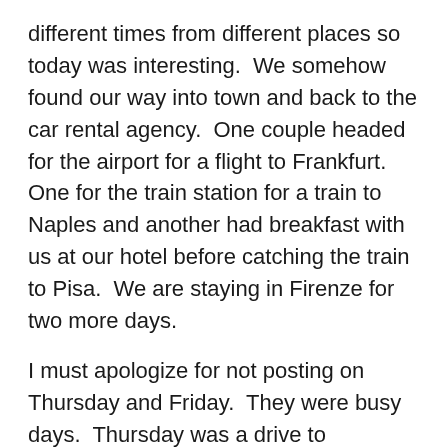different times from different places so today was interesting.  We somehow found our way into town and back to the car rental agency.  One couple headed for the airport for a flight to Frankfurt.  One for the train station for a train to Naples and another had breakfast with us at our hotel before catching the train to Pisa.  We are staying in Firenze for two more days.
I must apologize for not posting on Thursday and Friday.  They were busy days.  Thursday was a drive to Montepulciano and Cortonoa where the movie “Under the Tuscan Sun” was filmed.  Both are beautiful mountain top towns.  Narrow streets and panoramic views abound.  Wonderful little shops too. Friday was a different direction and altogether different landscapes, even more beautiful if that is possible.  We headed in to Brunello country, to